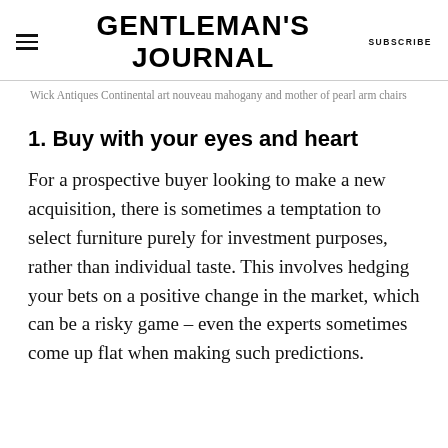GENTLEMAN'S JOURNAL | SUBSCRIBE
Wick Antiques Continental art nouveau mahogany and mother of pearl arm chairs
1. Buy with your eyes and heart
For a prospective buyer looking to make a new acquisition, there is sometimes a temptation to select furniture purely for investment purposes, rather than individual taste. This involves hedging your bets on a positive change in the market, which can be a risky game – even the experts sometimes come up flat when making such predictions.